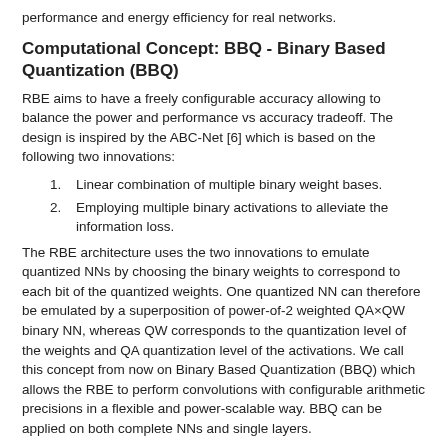performance and energy efficiency for real networks.
Computational Concept: BBQ - Binary Based Quantization (BBQ)
RBE aims to have a freely configurable accuracy allowing to balance the power and performance vs accuracy tradeoff. The design is inspired by the ABC-Net [6] which is based on the following two innovations:
Linear combination of multiple binary weight bases.
Employing multiple binary activations to alleviate the information loss.
The RBE architecture uses the two innovations to emulate quantized NNs by choosing the binary weights to correspond to each bit of the quantized weights. One quantized NN can therefore be emulated by a superposition of power-of-2 weighted QA×QW binary NN, whereas QW corresponds to the quantization level of the weights and QA quantization level of the activations. We call this concept from now on Binary Based Quantization (BBQ) which allows the RBE to perform convolutions with configurable arithmetic precisions in a flexible and power-scalable way. BBQ can be applied on both complete NNs and single layers.
Architecture
The RBE accelerator consists out of three parts:
Control Unit - contains all control related logic:
Whole tensor tile is handled in a single job, helped by HWPE uloop (tiny microcoded loop processor).